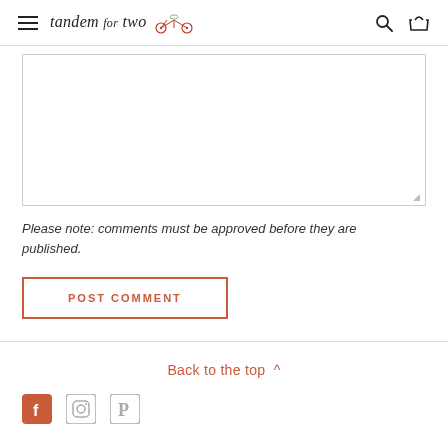tandem for two — navigation header with hamburger menu, logo, search icon, and basket icon
[Figure (screenshot): Text area input box (empty, with resize handle)]
Please note: comments must be approved before they are published.
[Figure (other): POST COMMENT button with red/salmon outline border]
Back to the top ^
[Figure (other): Social media icons: Facebook, Instagram, Pinterest]